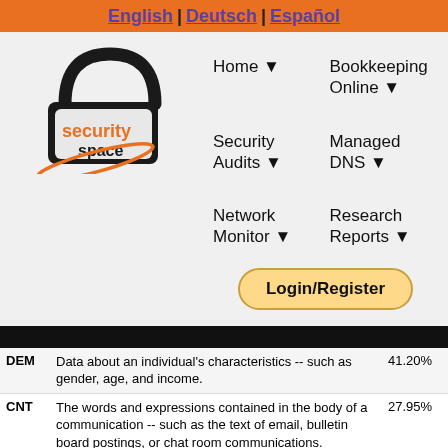English | Deutsch | Español
[Figure (logo): Security Space padlock logo with orange text 'security space']
Home ▼
Bookkeeping Online ▼
Security Audits ▼
Managed DNS ▼
Network Monitor ▼
Research Reports ▼
Login/Register
| Code | Description | Pct |
| --- | --- | --- |
| DEM | Data about an individual's characteristics -- such as gender, age, and income. | 41.20% |
| CNT | The words and expressions contained in the body of a communication -- such as the text of email, bulletin board postings, or chat room communications. | 27.95% |
| STA | Mechanisms for maintaining a stateful... | 35.76% |